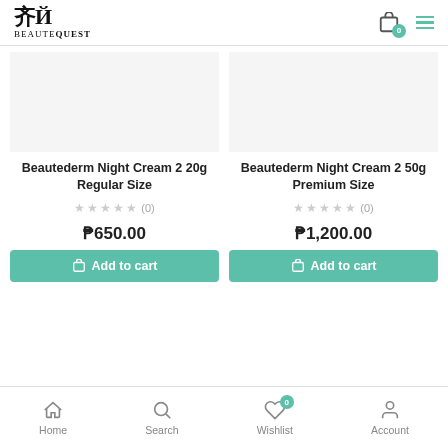BEAUTEQUEST
Beautederm Night Cream 2 20g Regular Size
★★★★★ (0)
₱650.00
Add to cart
Beautederm Night Cream 2 50g Premium Size
★★★★★ (0)
₱1,200.00
Add to cart
Home | Search | Wishlist 0 | Account